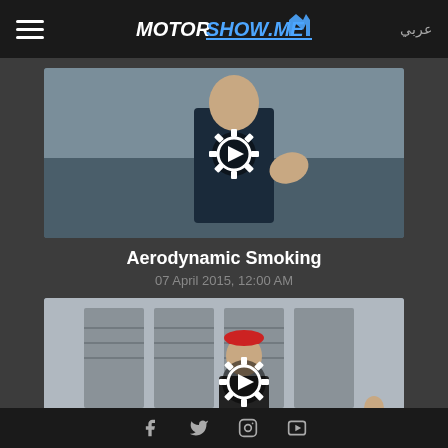MOTORSHOW.ME | عربي
[Figure (photo): Video thumbnail showing a man in dark clothing with a gear/play icon overlay - Aerodynamic Smoking video]
Aerodynamic Smoking
07 April 2015, 12:00 AM
[Figure (photo): Video thumbnail showing a person in a wheelchair at an airport with a gear/play icon overlay - Airport Wheel Chair Used for Luggage video]
Airport Wheel Chair Used for Luggage
12 October 2017, 12:00 AM
Facebook | Twitter | Instagram | YouTube